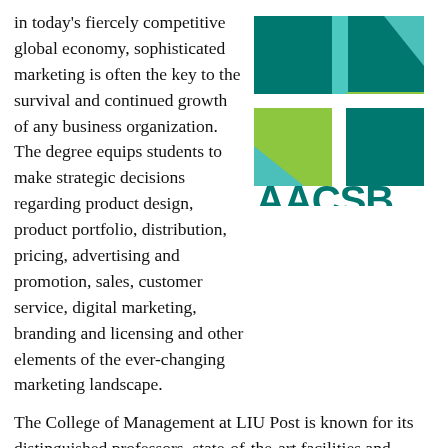in today's fiercely competitive global economy, sophisticated marketing is often the key to the survival and continued growth of any business organization. The degree equips students to make strategic decisions regarding product design, product portfolio, distribution, pricing, advertising and promotion, sales, customer service, digital marketing, branding and licensing and other elements of the ever-changing marketing landscape.
[Figure (logo): AACSB Accredited logo with geometric shapes in teal and green]
The College of Management at LIU Post is known for its distinguished professors, state-of-the-art facilities and strong network of successful alumni. Marketing majors take classes in a technologically advanced academic environment. The